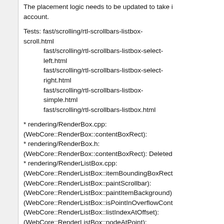The placement logic needs to be updated to take this into account.
Tests: fast/scrolling/rtl-scrollbars-listbox-scroll.html
        fast/scrolling/rtl-scrollbars-listbox-select-left.html
        fast/scrolling/rtl-scrollbars-listbox-select-right.html
        fast/scrolling/rtl-scrollbars-listbox-simple.html
        fast/scrolling/rtl-scrollbars-listbox.html
* rendering/RenderBox.cpp: (WebCore::RenderBox::contentBoxRect):
* rendering/RenderBox.h: (WebCore::RenderBox::contentBoxRect): Deleted
* rendering/RenderListBox.cpp: (WebCore::RenderListBox::itemBoundingBoxRect): (WebCore::RenderListBox::paintScrollbar): (WebCore::RenderListBox::paintItemBackground): (WebCore::RenderListBox::isPointInOverflowControl): (WebCore::RenderListBox::listIndexAtOffset): (WebCore::RenderListBox::nodeAtPoint): (WebCore::RenderListBox::controlClipRect): (WebCore::RenderListBox::invalidateScrollbarRect): (WebCore::RenderListBox::convertFromScrollbarToContaining): (WebCore::RenderListBox::convertFromContainingViewToScrollbar): (WebCore::RenderListBox::scrolledToTop): (WebCore::RenderListBox::scrolledToBottom):